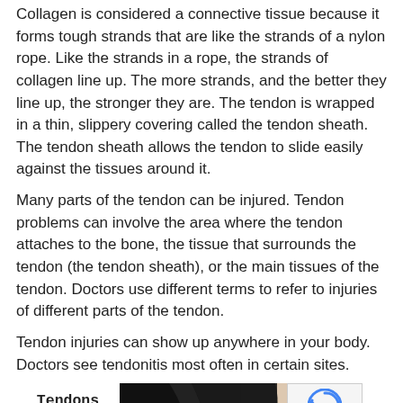Collagen is considered a connective tissue because it forms tough strands that are like the strands of a nylon rope. Like the strands in a rope, the strands of collagen line up. The more strands, and the better they line up, the stronger they are. The tendon is wrapped in a thin, slippery covering called the tendon sheath. The tendon sheath allows the tendon to slide easily against the tissues around it.
Many parts of the tendon can be injured. Tendon problems can involve the area where the tendon attaches to the bone, the tissue that surrounds the tendon (the tendon sheath), or the main tissues of the tendon. Doctors use different terms to refer to injuries of different parts of the tendon.
Tendon injuries can show up anywhere in your body. Doctors see tendonitis most often in certain sites.
[Figure (illustration): Three-part medical illustration: left panel shows bold text 'Tendons of the Lower Limb'; center panel shows a black background with anatomical leg/limb silhouette; right panel shows a color illustration of shoulder/arm tendons in red and pink tones. A reCAPTCHA privacy badge overlays the top-right corner.]